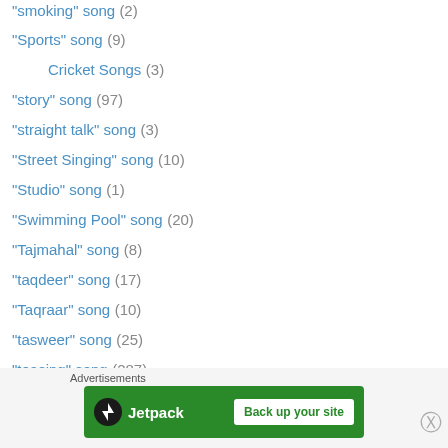"smoking" song (2)
"Sports" song (9)
Cricket Songs (3)
"story" song (97)
"straight talk" song (3)
"Street Singing" song (10)
"Studio" song (1)
"Swimming Pool" song (20)
"Tajmahal" song (8)
"taqdeer" song (17)
"Taqraar" song (10)
"tasweer" song (25)
"teasing" song (287)
"This song is from THIS film ?" (1)
"tied at a stake" song (8)
"til" song (2)
"tu tu main main" song (1)
Advertisements
[Figure (other): Jetpack advertisement banner with green background showing Jetpack logo and 'Back up your site' button]